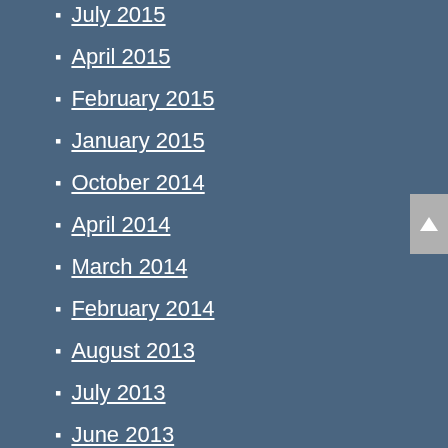July 2015
April 2015
February 2015
January 2015
October 2014
April 2014
March 2014
February 2014
August 2013
July 2013
June 2013
May 2013
April 2013